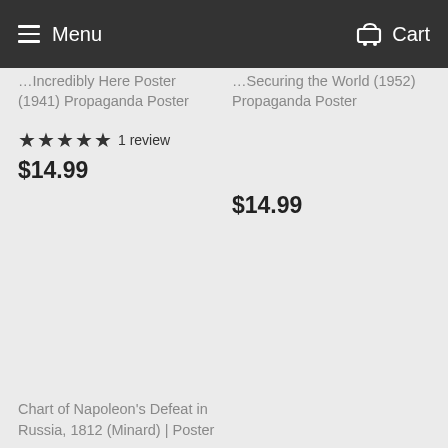Menu  Cart
(1941) Propaganda Poster
★★★★★ 1 review
$14.99
Securing the World (1952) Propaganda Poster
$14.99
Chart of Napoleon's Defeat in Russia, 1812 (Minard) | Poster